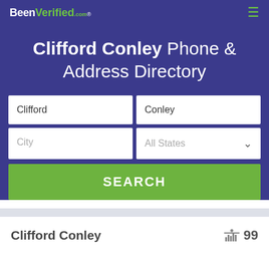BeenVerified.com
Clifford Conley Phone & Address Directory
Clifford
Conley
City
All States
SEARCH
Clifford Conley 99